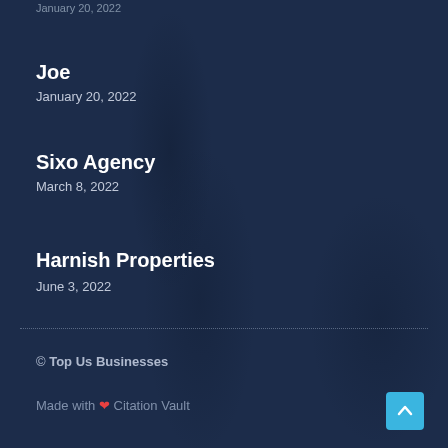January 20, 2022
Joe
January 20, 2022
Sixo Agency
March 8, 2022
Harnish Properties
June 3, 2022
© Top Us Businesses
Made with ❤ Citation Vault